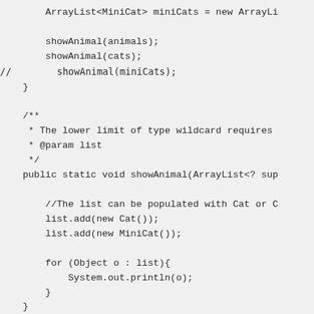Code snippet showing Java generics with wildcard types, ArrayList usage, showAnimal method with lower bounded wildcard, list population with Cat and MiniCat, and for-each loop.